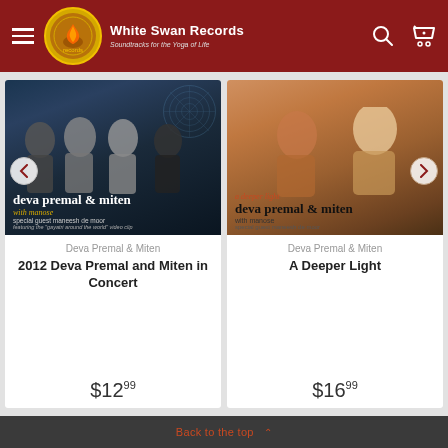White Swan Records — Soundtracks for the Yoga of Life
[Figure (photo): Album cover: Deva Premal & Miten with Manose, 2012 concert. Group photo of four people against decorative background with album title text overlay.]
Deva Premal & Miten
2012 Deva Premal and Miten in Concert
$12.99
[Figure (photo): Album cover: A Deeper Light by Deva Premal & Miten with Manose. Two people smiling with orange/warm toned background and album title text overlay.]
Deva Premal & Miten
A Deeper Light
$16.99
Back to the top ^